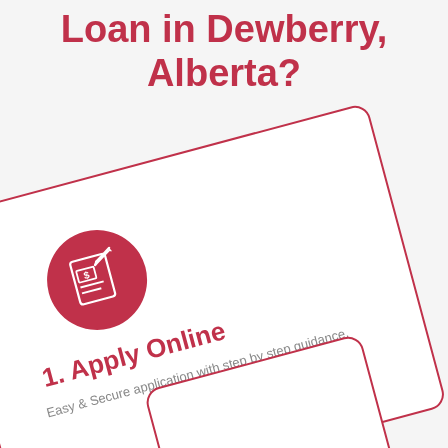Loan in Dewberry, Alberta?
[Figure (infographic): A rotated white card with red border containing a pink circle with a document/pen icon, the text '1. Apply Online' in red, and subtitle 'Easy & Secure application with step by step guidance.' in grey. Below it is a partially visible second rotated card.]